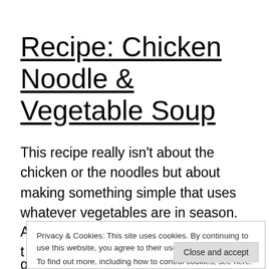Recipe: Chicken Noodle & Vegetable Soup
This recipe really isn't about the chicken or the noodles but about making something simple that uses whatever vegetables are in season.
Privacy & Cookies: This site uses cookies. By continuing to use this website, you agree to their use.
To find out more, including how to control cookies, see here: Cookie Policy
garden      Continue reading